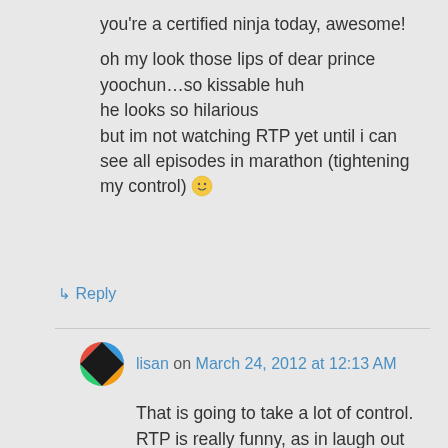you're a certified ninja today, awesome!

oh my look those lips of dear prince yoochun…so kissable huh
he looks so hilarious
but im not watching RTP yet until i can see all episodes in marathon (tightening my control) 🙂
↳ Reply
lisan on March 24, 2012 at 12:13 AM
That is going to take a lot of control. RTP is really funny, as in laugh out loud funny. I usually wait to